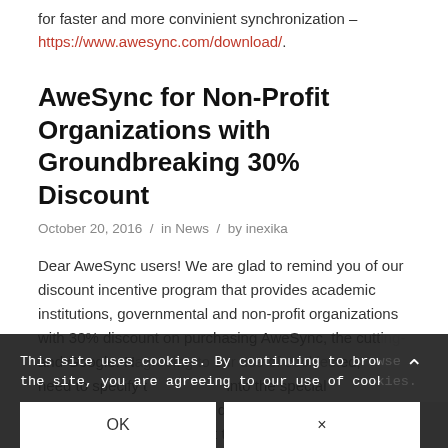for faster and more convinient synchronization – https://www.awesync.com/download/.
AweSync for Non-Profit Organizations with Groundbreaking 30% Discount
October 20, 2016 / in News / by inexika
Dear AweSync users! We are glad to remind you of our discount incentive program that provides academic institutions, governmental and non-profit organizations with 30% discount on purchasing AweSync, the cutting-edge and Google. No... need to specify t... into the special pricing category... and with it. We reserve the right to request the evidence. Eligibility...
This site uses cookies. By continuing to browse the site, you are agreeing to our use of cookies.